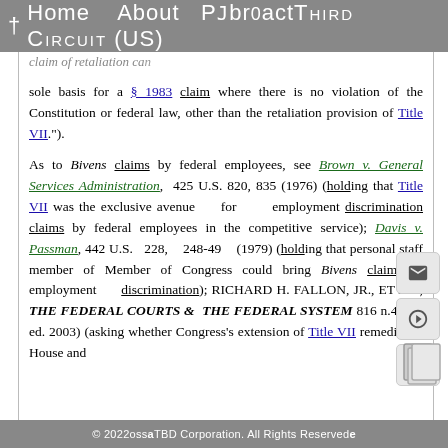† Home  About  PJbr0act  Third Circuit (US)
claim of retaliation can sole basis for a § 1983 claim where there is no violation of the Constitution or federal law, other than the retaliation provision of Title VII.").
As to Bivens claims by federal employees, see Brown v. General Services Administration, 425 U.S. 820, 835 (1976) (holding that Title VII was the exclusive avenue for employment discrimination claims by federal employees in the competitive service); Davis v. Passman, 442 U.S. 228, 248-49 (1979) (holding that personal staff member of Member of Congress could bring Bivens claim for employment discrimination); RICHARD H. FALLON, JR., ET AL., THE FEDERAL COURTS & THE FEDERAL SYSTEM 816 n.4 (5th ed. 2003) (asking whether Congress's extension of Title VII remedies to House and
© 2022ossaTBD Corporation. All Rights Reserved.